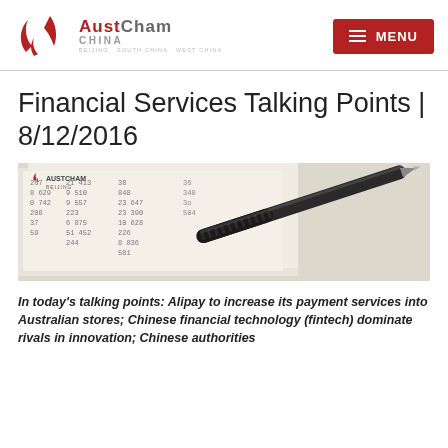AustCham China — BEIJING SOUTH CHINA WEST CHINA — MENU
Financial Services Talking Points | 8/12/2016
[Figure (photo): Photo of financial spreadsheet documents with printed numbers and a black ballpoint pen resting on the paper, with AustCham Beijing logo overlay in top-left corner]
In today's talking points: Alipay to increase its payment services into Australian stores; Chinese financial technology (fintech) dominate rivals in innovation; Chinese authorities